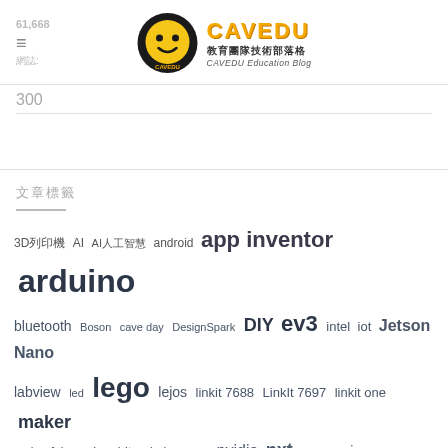61,668 ≡ 網誌: CAVEDU 教育團隊技術部落格 CAVEDU Education Blog
300
文章標籤
3D列印機 AI AI人工智慧 android app inventor arduino bluetooth Boson cave day DesignSpark DIY ev3 intel iot Jetson Nano labview led lego lejos linkit 7688 LinkIt 7697 linkit one maker maker faire micro:bit mindsensors nvidia nxt processing python Raspberry Pi robot scratch TensorFlow 樹莓派 機器人 活動資訊 物聯網 積木 自走車 □